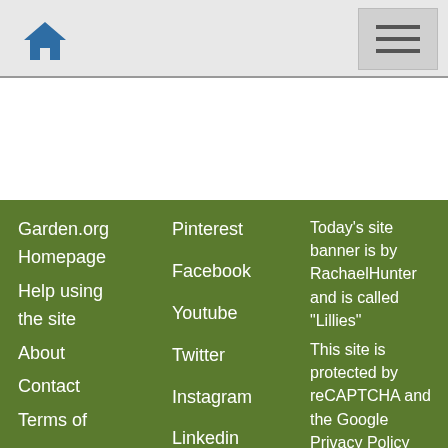Home | Menu
Garden.org Homepage
Help using the site
About
Contact
Terms of
Pinterest
Facebook
Youtube
Twitter
Instagram
Linkedin
Today's site banner is by RachaelHunter and is called "Lillies"
This site is protected by reCAPTCHA and the Google Privacy Policy